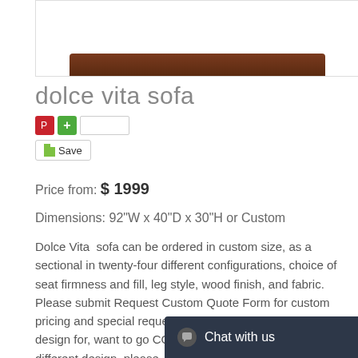[Figure (photo): Product image of dolce vita sofa - partial view showing brown wooden frame/headrest against white background]
dolce vita sofa
[Figure (other): Pinterest share button (red), plus button (green), share input field, and Houzz Save button]
Price from: $ 1999
Dimensions: 92"W x 40"D x 30"H or Custom
Dolce Vita sofa can be ordered in custom size, as a sectional in twenty-four different configurations, choice of seat firmness and fill, leg style, wood finish, and fabric. Please submit Request Custom Quote Form for custom pricing and special requests. If you have a difficult area to design for, want to go COM, or just want an exclusive, different design, please, call Customer Service (214) 984-4128.
Kiln-dried Alder hardwood.
Double-doweled frame.
8 Gauge sinuous spring suspensions or 8-Way handtied.
Made with highest density foam for resilience of…
[Figure (screenshot): Chat with us widget - dark background with chat icon and white text]